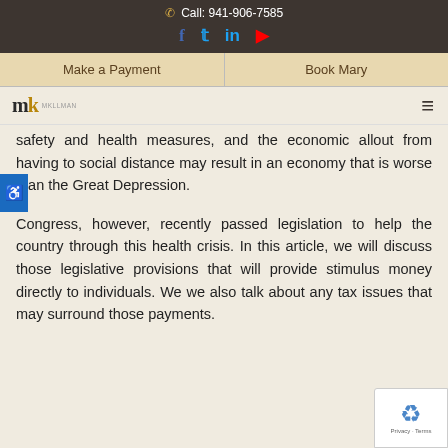Call: 941-906-7585
safety and health measures, and the economic allout from having to social distance may result in an economy that is worse than the Great Depression.
Congress, however, recently passed legislation to help the country through this health crisis. In this article, we will discuss those legislative provisions that will provide stimulus money directly to individuals. We we also talk about any tax issues that may surround those payments.